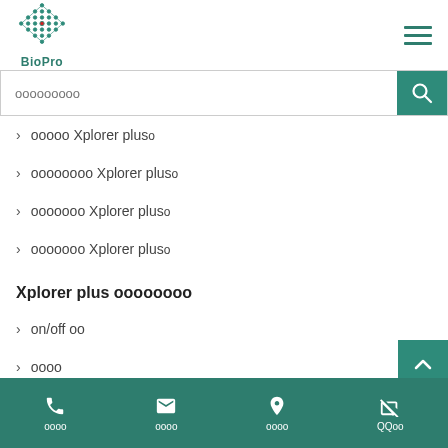[Figure (logo): BioPro diamond-shaped grid logo in teal/green with red center dot]
BioPro
ооооооооо (search placeholder)
› ооооо Xplorer plusо
› оооооооо Xplorer plusо
› ооооооо Xplorer plusо
› ооооооо Xplorer plusо
Xplorer plus оооооооо
› on/off оо
› оооо
› оооо
› ооооооо
› оооо
оооо | оооо | оооо | QQоо